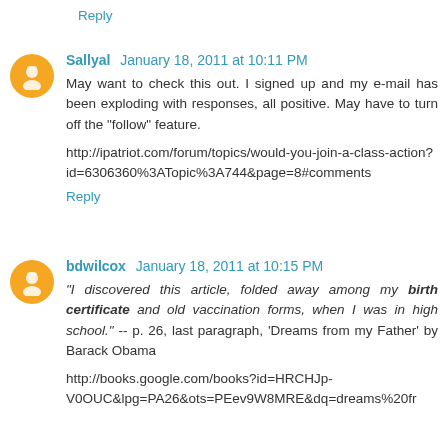Reply
Sallyal January 18, 2011 at 10:11 PM
May want to check this out. I signed up and my e-mail has been exploding with responses, all positive. May have to turn off the "follow" feature.
http://ipatriot.com/forum/topics/would-you-join-a-class-action?id=6306360%3ATopic%3A744&page=8#comments
Reply
bdwilcox January 18, 2011 at 10:15 PM
"I discovered this article, folded away among my birth certificate and old vaccination forms, when I was in high school." -- p. 26, last paragraph, 'Dreams from my Father' by Barack Obama
http://books.google.com/books?id=HRCHJp-V0OUC&lpg=PA26&ots=PEev9W8MRE&dq=dreams%20fr